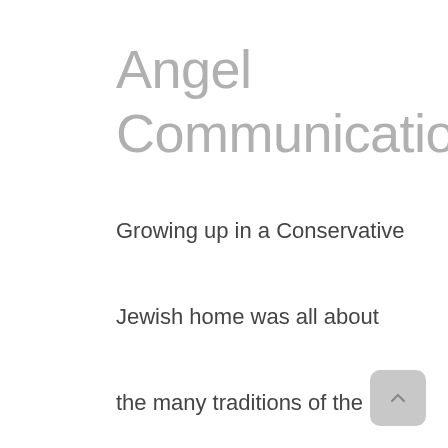Angel Communication
Growing up in a Conservative Jewish home was all about the many traditions of the faith, reading the torah, going to private Jewish school and the closeness of the community. But there was